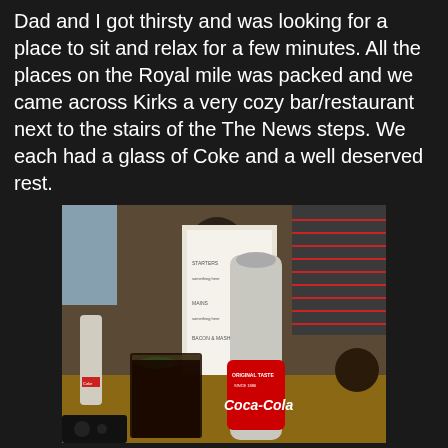Dad and I got thirsty and was looking for a place to sit and relax for a few minutes. All the places on the Royal mile was packed and we came across Kirks a very cozy bar/restaurant next to the stairs of the The News steps. We each had a glass of Coke and a well deserved rest.
[Figure (photo): Photo of Coca-Cola bottles and a glass of Coke with ice on a table inside a bar/restaurant. A menu card and window blinds are visible in the background.]